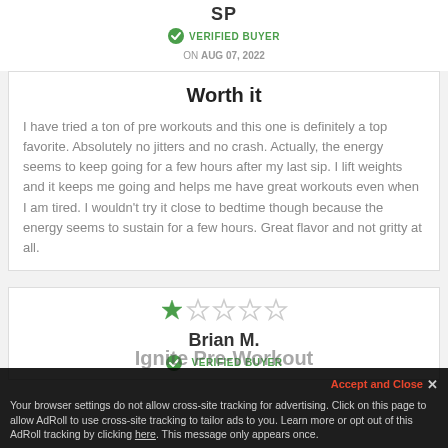SP
VERIFIED BUYER
ON AUG 07, 2022
Worth it
I have tried a ton of pre workouts and this one is definitely a top favorite. Absolutely no jitters and no crash. Actually, the energy seems to keep going for a few hours after my last sip. I lift weights and it keeps me going and helps me have great workouts even when I am tired. I wouldn't try it close to bedtime though because the energy seems to sustain for a few hours. Great flavor and not gritty at all.
[Figure (other): 1 out of 5 stars rating — one filled green star and four empty outlined stars]
Brian M.
VERIFIED BUYER
ON AUG 02, 2022
Ignite Pre-Workout
Your browser settings do not allow cross-site tracking for advertising. Click on this page to allow AdRoll to use cross-site tracking to tailor ads to you. Learn more or opt out of this AdRoll tracking by clicking here. This message only appears once.